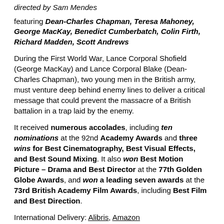directed by Sam Mendes
featuring Dean-Charles Chapman, Teresa Mahoney, George MacKay, Benedict Cumberbatch, Colin Firth, Richard Madden, Scott Andrews
During the First World War, Lance Corporal Shofield (George MacKay) and Lance Corporal Blake (Dean-Charles Chapman), two young men in the British army, must venture deep behind enemy lines to deliver a critical message that could prevent the massacre of a British battalion in a trap laid by the enemy.
It received numerous accolades, including ten nominations at the 92nd Academy Awards and three wins for Best Cinematography, Best Visual Effects, and Best Sound Mixing. It also won Best Motion Picture – Drama and Best Director at the 77th Golden Globe Awards, and won a leading seven awards at the 73rd British Academy Film Awards, including Best Film and Best Direction.
International Delivery: Alibris, Amazon